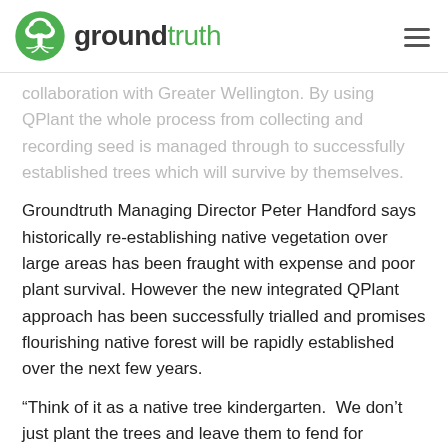groundtruth
collaboration with Greater Wellington. By using QPlant the whole process from collecting and recording seed is managed through to successfully established trees which will survive by themselves.
Groundtruth Managing Director Peter Handford says historically re-establishing native vegetation over large areas has been fraught with expense and poor plant survival. However the new integrated QPlant approach has been successfully trialled and promises flourishing native forest will be rapidly established over the next few years.
“Think of it as a native tree kindergarten.  We don’t just plant the trees and leave them to fend for themselves but manage them from seeds through to toddlers.  Before we got to this stage we did extensive research into the unique properties of the park